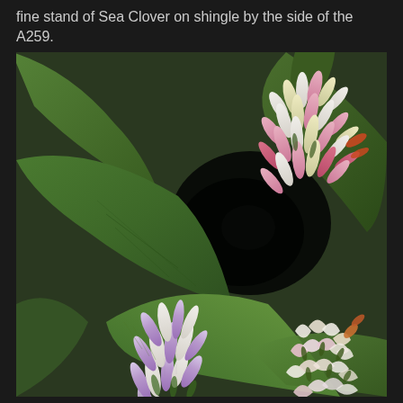fine stand of Sea Clover on shingle by the side of the A259.
[Figure (photo): Close-up macro photograph of Sea Clover (Trifolium squamosum) showing multiple flower heads with pink, white, and pale purple petal buds clustered together, with green leaves visible in the background and foreground.]